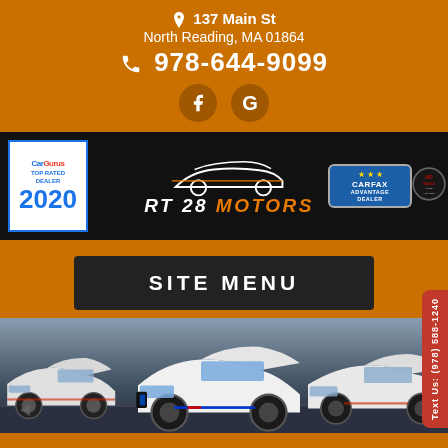📍 137 Main St
North Reading, MA 01864
📞 978-644-9099
[Figure (logo): RT 28 Motors dealer logo banner with CarGurus Top Rated Dealer 2020 badge, No Haggle Price badges, CARFAX Advantage Dealer badge, and RT 28 Motors text with car silhouette on black background]
SITE MENU
[Figure (photo): Three white BMW M-series cars parked on a race track with dramatic cloudy sky background]
Text Us
Text Us: (978) 588-1240